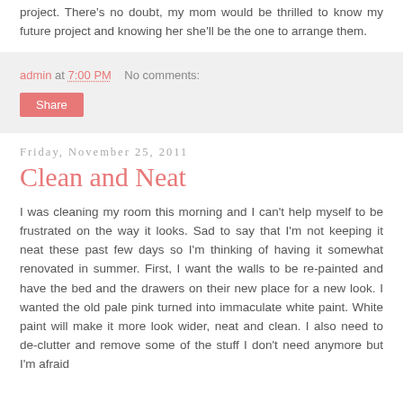project. There's no doubt, my mom would be thrilled to know my future project and knowing her she'll be the one to arrange them.
admin at 7:00 PM   No comments:
Share
Friday, November 25, 2011
Clean and Neat
I was cleaning my room this morning and I can't help myself to be frustrated on the way it looks. Sad to say that I'm not keeping it neat these past few days so I'm thinking of having it somewhat renovated in summer. First, I want the walls to be re-painted and have the bed and the drawers on their new place for a new look. I wanted the old pale pink turned into immaculate white paint. White paint will make it more look wider, neat and clean. I also need to de-clutter and remove some of the stuff I don't need anymore but I'm afraid